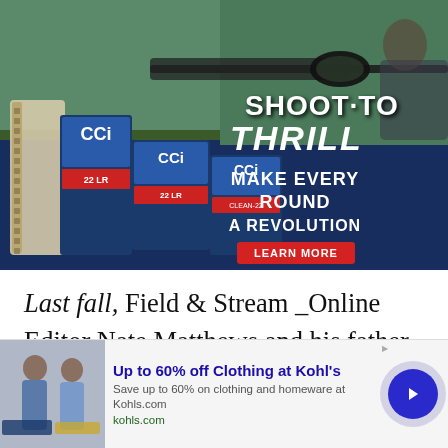[Figure (photo): CCI ammunition advertisement. Shows a person aiming a rifle with scope, with CCI ammunition boxes (22 LR, Clean-22) in the foreground. Text reads 'SHOOT TO THRILL', 'MAKE EVERY ROUND A REVOLUTION', and 'LEARN MORE' button on a dark blue background.]
Last fall, Field & Stream _Online Editor Nate Matthews and his father, Bruce, spent 15 days fishing the Rio Grande River from its headwaters in Colorado to its mouth at the Gulf of Mexico. These excerpts from their journals tell the story of the 9th day of their trip
[Figure (screenshot): Advertisement banner for Kohl's: 'Up to 60% off Clothing at Kohl's'. Shows two people in casual clothes. Text: 'Save up to 60% on clothing and homeware at Kohls.com' and 'kohls.com'. Blue arrow navigation button on right.]